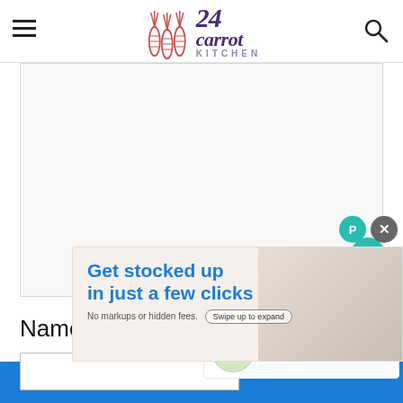24 Carrot Kitchen
[Figure (screenshot): Large image placeholder area, light gray background, part of a food blog post on 24 Carrot Kitchen website]
1.5K
[Figure (infographic): WHAT'S NEXT arrow panel showing a circular food photo thumbnail with text 'Mango Smoothie...']
Name *
[Figure (screenshot): Advertisement banner: 'Get stocked up in just a few clicks. No markups or hidden fees. Swipe up to expand']